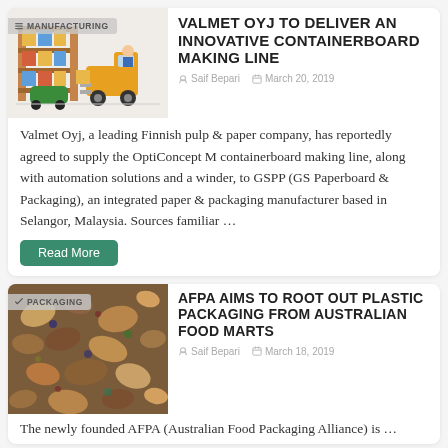[Figure (illustration): Warehouse illustration with forklift and shelves, badge reading MANUFACTURING]
VALMET OYJ TO DELIVER AN INNOVATIVE CONTAINERBOARD MAKING LINE
Saif Bepari   March 20, 2019
Valmet Oyj, a leading Finnish pulp & paper company, has reportedly agreed to supply the OptiConcept M containerboard making line, along with automation solutions and a winder, to GSPP (GS Paperboard & Packaging), an integrated paper & packaging manufacturer based in Selangor, Malaysia. Sources familiar …
Read More
[Figure (photo): Close-up photo of colorful mixed nuts and seeds, badge reading PACKAGING]
AFPA AIMS TO ROOT OUT PLASTIC PACKAGING FROM AUSTRALIAN FOOD MARTS
Saif Bepari   March 18, 2019
The newly founded AFPA (Australian Food Packaging Alliance) is …